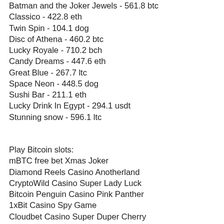Batman and the Joker Jewels - 561.8 btc
Classico - 422.8 eth
Twin Spin - 104.1 dog
Disc of Athena - 460.2 btc
Lucky Royale - 710.2 bch
Candy Dreams - 447.6 eth
Great Blue - 267.7 ltc
Space Neon - 448.5 dog
Sushi Bar - 211.1 eth
Lucky Drink In Egypt - 294.1 usdt
Stunning snow - 596.1 ltc
Play Bitcoin slots:
mBTC free bet Xmas Joker
Diamond Reels Casino Anotherland
CryptoWild Casino Super Lady Luck
Bitcoin Penguin Casino Pink Panther
1xBit Casino Spy Game
Cloudbet Casino Super Duper Cherry
Vegas Crest Casino Winner´s Cup
mBTC free bet Fruit Cocktail